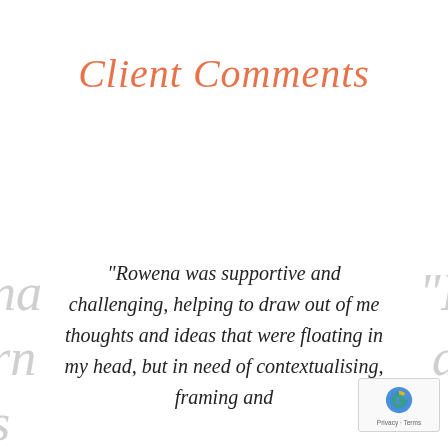Client Comments
“Rowena was supportive and challenging, helping to draw out of me thoughts and ideas that were floating in my head, but in need of contextualising, framing and